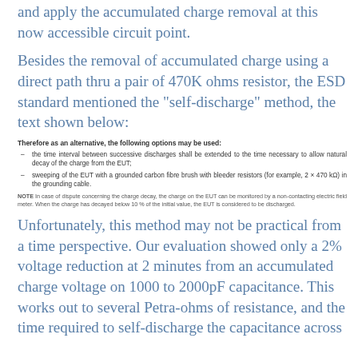and apply the accumulated charge removal at this now accessible circuit point.
Besides the removal of accumulated charge using a direct path thru a pair of 470K ohms resistor, the ESD standard mentioned the “self-discharge” method, the text shown below:
Therefore as an alternative, the following options may be used:
the time interval between successive discharges shall be extended to the time necessary to allow natural decay of the charge from the EUT;
sweeping of the EUT with a grounded carbon fibre brush with bleeder resistors (for example, 2 × 470 kΩ) in the grounding cable.
NOTE  In case of dispute concerning the charge decay, the charge on the EUT can be monitored by a non-contacting electric field meter. When the charge has decayed below 10 % of the initial value, the EUT is considered to be discharged.
Unfortunately, this method may not be practical from a time perspective. Our evaluation showed only a 2% voltage reduction at 2 minutes from an accumulated charge voltage on 1000 to 2000pF capacitance. This works out to several Petra-ohms of resistance, and the time required to self-discharge the capacitance across